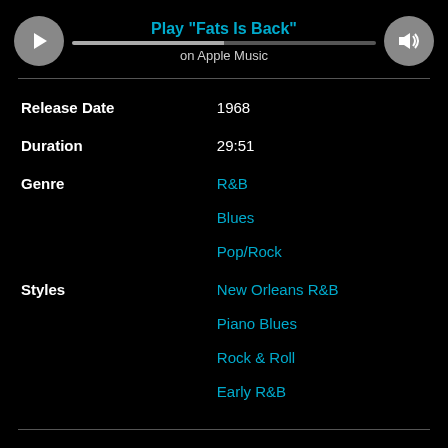Play "Fats Is Back"
on Apple Music
| Field | Value |
| --- | --- |
| Release Date | 1968 |
| Duration | 29:51 |
| Genre | R&B
Blues
Pop/Rock |
| Styles | New Orleans R&B
Piano Blues
Rock & Roll
Early R&B |